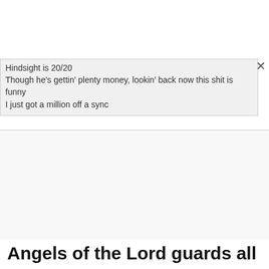Hindsight is 20/20
Though he's gettin' plenty money, lookin' back now this shit is funny
I just got a million off a sync
[Figure (screenshot): Advertisement area with play and close controls]
Angels of the Lord guards all